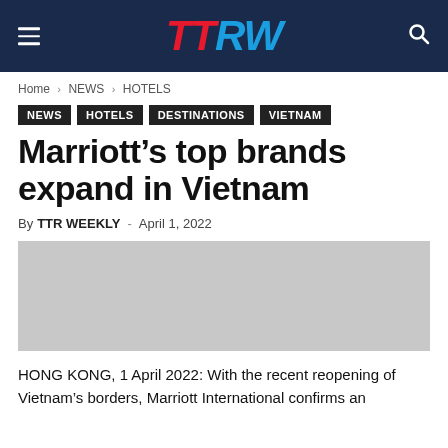TTRW
Home › NEWS › HOTELS
NEWS
HOTELS
DESTINATIONS
VIETNAM
Marriott's top brands expand in Vietnam
By TTR WEEKLY - April 1, 2022
[Figure (photo): Image placeholder for article about Marriott expansion in Vietnam]
HONG KONG, 1 April 2022: With the recent reopening of Vietnam's borders, Marriott International confirms an